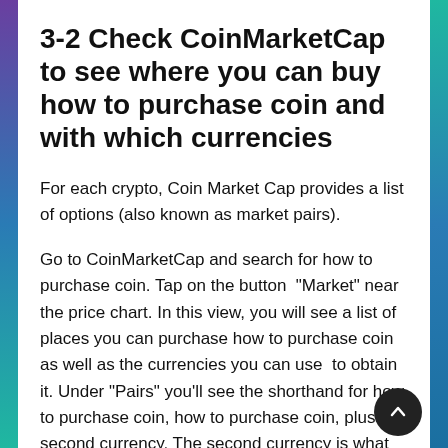3-2 Check CoinMarketCap to see where you can buy how to purchase coin and with which currencies
For each crypto, Coin Market Cap provides a list of options (also known as market pairs).
Go to CoinMarketCap and search for how to purchase coin. Tap on the button “Market” near the price chart. In this view, you will see a list of places you can purchase how to purchase coin as well as the currencies you can use to obtain it. Under “Pairs” you’ll see the shorthand for how to purchase coin, how to purchase coin, plus a second currency. The second currency is what